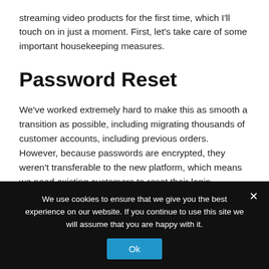streaming video products for the first time, which I'll touch on in just a moment. First, let's take care of some important housekeeping measures.
Password Reset
We've worked extremely hard to make this as smooth a transition as possible, including migrating thousands of customer accounts, including previous orders. However, because passwords are encrypted, they weren't transferable to the new platform, which means we need existing customers to reset their login information.
We use cookies to ensure that we give you the best experience on our website. If you continue to use this site we will assume that you are happy with it.